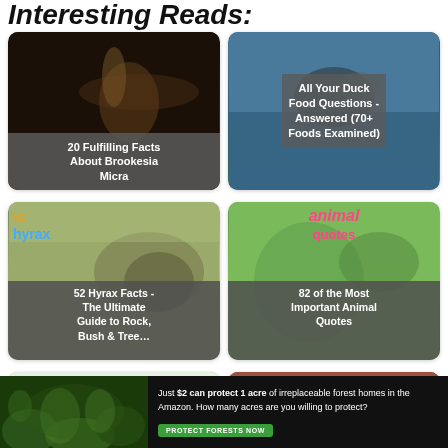Interesting Reads:
[Figure (photo): Card: 20 Fulfilling Facts About Brookesia Micra - dark photo of a small chameleon on a finger]
[Figure (photo): Card: All Your Duck Food Questions - Answered (70+ Foods Examined) - photo of a duck being held]
[Figure (photo): Card: 52 Hyrax Facts - The Ultimate Guide to Rock, Bush & Tree... - photo of a hyrax]
[Figure (photo): Card: 82 of the Most Important Animal Quotes - photo of a girl with an animal]
[Figure (photo): Card: capybara - partial photo]
[Figure (photo): Card: partial photo of forest/nature scene]
Just $2 can protect 1 acre of irreplaceable forest homes in the Amazon. How many acres are you willing to protect?
PROTECT FORESTS NOW